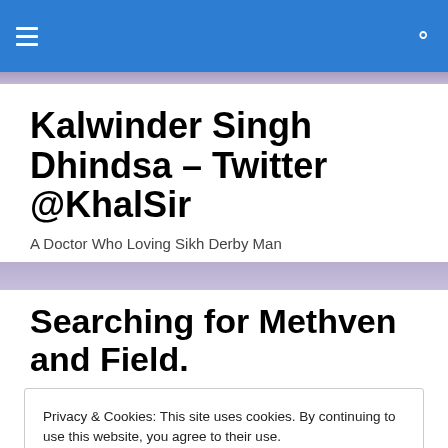Navigation bar with hamburger menu and search icon
Kalwinder Singh Dhindsa – Twitter @KhalSir
A Doctor Who Loving Sikh Derby Man
Searching for Methven and Field.
Privacy & Cookies: This site uses cookies. By continuing to use this website, you agree to their use.
To find out more, including how to control cookies, see here: Cookie Policy
Close and accept